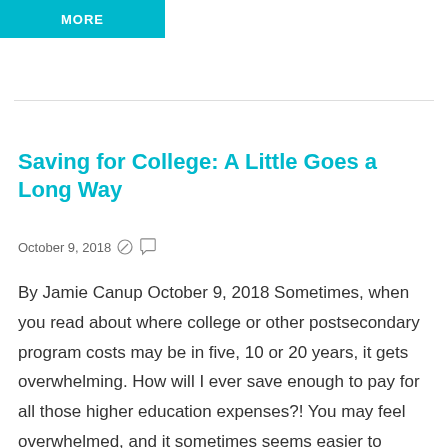[Figure (other): Teal/cyan button banner with white bold text 'MORE']
Saving for College: A Little Goes a Long Way
October 9, 2018
By Jamie Canup October 9, 2018 Sometimes, when you read about where college or other postsecondary program costs may be in five, 10 or 20 years, it gets overwhelming. How will I ever save enough to pay for all those higher education expenses?! You may feel overwhelmed, and it sometimes seems easier to